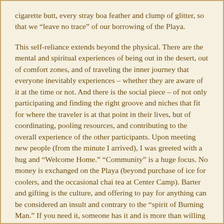cigarette butt, every stray boa feather and clump of glitter, so that we “leave no trace” of our borrowing of the Playa.
This self-reliance extends beyond the physical. There are the mental and spiritual experiences of being out in the desert, out of comfort zones, and of traveling the inner journey that everyone inevitably experiences – whether they are aware of it at the time or not. And there is the social piece – of not only participating and finding the right groove and niches that fit for where the traveler is at that point in their lives, but of coordinating, pooling resources, and contributing to the overall experience of the other participants. Upon meeting new people (from the minute I arrived), I was greeted with a hug and “Welcome Home.” “Community” is a huge focus. No money is exchanged on the Playa (beyond purchase of ice for coolers, and the occasional chai tea at Center Camp). Barter and gifting is the culture, and offering to pay for anything can be considered an insult and contrary to the “spirit of Burning Man.” If you need it, someone has it and is more than willing to provide it to you (just in time!) with a generous heart, open hands, and a loving smile. Whether it is a D battery, a bloody